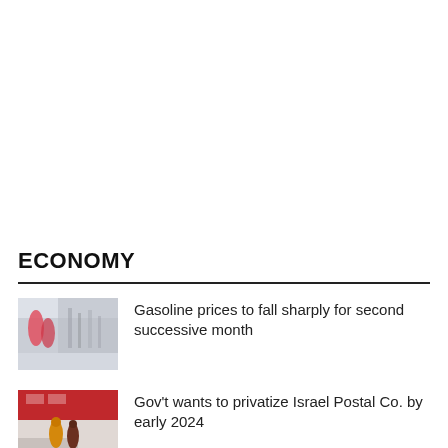ECONOMY
[Figure (photo): People at gas station pumps, blurred motion]
Gasoline prices to fall sharply for second successive month
[Figure (photo): People inside Israel Post office with red decor]
Gov't wants to privatize Israel Postal Co. by early 2024
[Figure (photo): Partially visible image, third article]